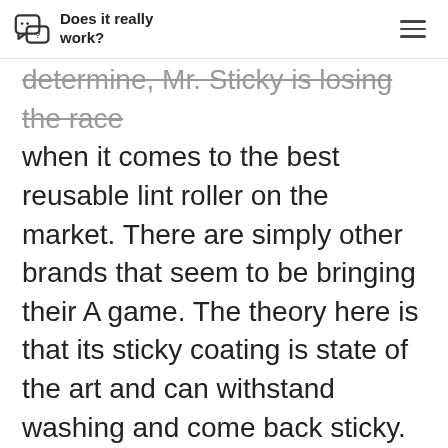Does it really work?
determine, Mr. Sticky is losing the race when it comes to the best reusable lint roller on the market. There are simply other brands that seem to be bringing their A game. The theory here is that its sticky coating is state of the art and can withstand washing and come back sticky.
What we're seeing though is that most people that try it have a complaint or